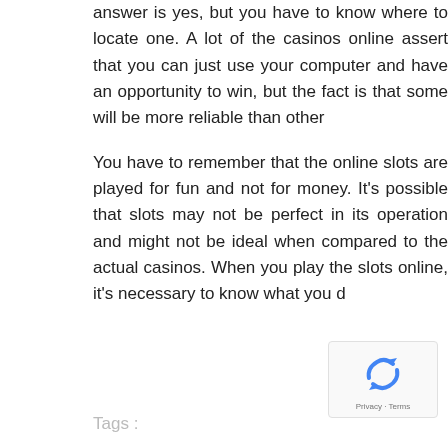answer is yes, but you have to know where to locate one. A lot of the casinos online assert that you can just use your computer and have an opportunity to win, but the fact is that some will be more reliable than other
You have to remember that the online slots are played for fun and not for money. It's possible that slots may not be perfect in its operation and might not be ideal when compared to the actual casinos. When you play the slots online, it's necessary to know what you d
Tags :